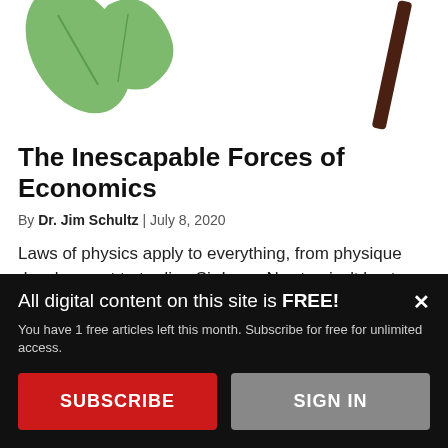[Figure (illustration): Partial illustration showing a green leaf (top-left) and a dark brown diagonal branch/stick (top-right) against a white background — appears to be the top of an apple-falling graphic.]
The Inescapable Forces of Economics
By Dr. Jim Schultz | July 8, 2020
Laws of physics apply to everything, from physique development to trading Sir Isaac Newton isn't best-known for his rock-hard abs or unmatched prowess in the capital markets, but that's not...
[Figure (infographic): A horizontal row of colored rectangle segments (dark, red, and other colors) forming a decorative color bar.]
All digital content on this site is FREE! You have 1 free articles left this month. Subscribe for free for unlimited access.